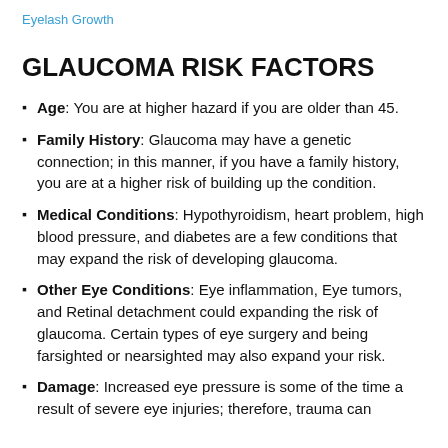Eyelash Growth
GLAUCOMA RISK FACTORS
Age: You are at higher hazard if you are older than 45.
Family History: Glaucoma may have a genetic connection; in this manner, if you have a family history, you are at a higher risk of building up the condition.
Medical Conditions: Hypothyroidism, heart problem, high blood pressure, and diabetes are a few conditions that may expand the risk of developing glaucoma.
Other Eye Conditions: Eye inflammation, Eye tumors, and Retinal detachment could expanding the risk of glaucoma. Certain types of eye surgery and being farsighted or nearsighted may also expand your risk.
Damage: Increased eye pressure is some of the time a result of severe eye injuries; therefore, trauma can